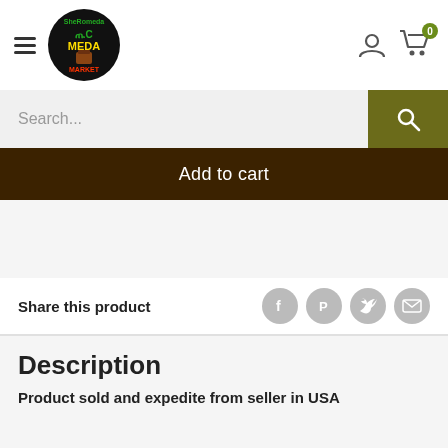SheRomeda Tic Meda Market logo with hamburger menu, user icon, and cart with 0 items
Search...
Add to cart
Share this product
Description
Product sold and expedite from seller in USA